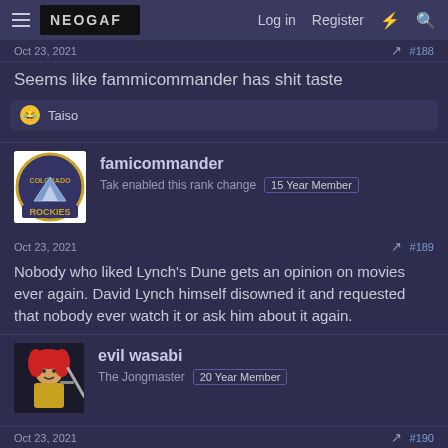NEOGAF Log in Register
Oct 23, 2021  #188
Seems like fammicommander has shit taste
Taiso
famicommander
Tak enabled this rank change  15 Year Member
Oct 23, 2021  #189
Nobody who liked Lynch's Dune gets an opinion on movies ever again. David Lynch himself disowned it and requested that nobody ever watch it or ask him about it again.
evil wasabi
The Jongmaster  20 Year Member
Oct 23, 2021  #190